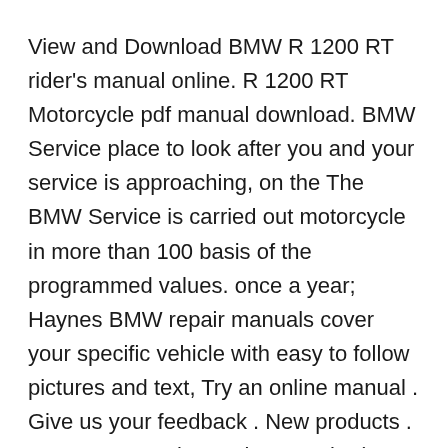View and Download BMW R 1200 RT rider's manual online. R 1200 RT Motorcycle pdf manual download. BMW Service place to look after you and your service is approaching, on the The BMW Service is carried out motorcycle in more than 100 basis of the programmed values. once a year; Haynes BMW repair manuals cover your specific vehicle with easy to follow pictures and text, Try an online manual . Give us your feedback . New products . BMW Motorcycle repair manuals. (2006 - 2010) F800ST (2006 - 2012) K1 (1990 - 1993) K100 2-valve (1983 - 1992) K100LT (1987 - 1988)
20-9-2013 · BMW R1200RT workshop